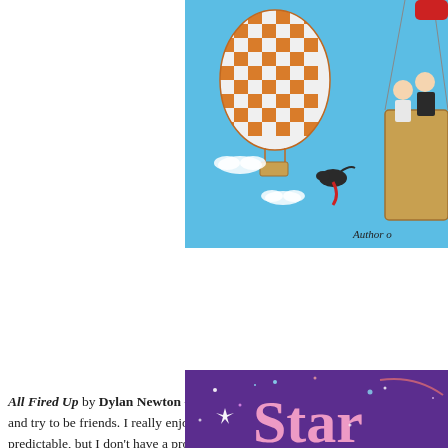[Figure (illustration): Book cover illustration showing a hot air balloon with orange and white checkered pattern on the left, and on the right two people standing in a wicker basket of another balloon. A bird with a red scarf flies in the middle. Light blue sky background. Text at bottom right reads 'Author o'. Partial book cover view.]
All Fired Up by Dylan Newton - This follows a 1-night stand and what happens when the two meet again and try to be friends. I really enjoyed the characters and really felt like the world was well developed. It's predictable, but I don't have a problem with that. 1 R-rated scene.
[Figure (illustration): Partial book cover with deep purple background and pink cursive text beginning with 'Star' (cropped). Decorative stars and dots on the purple background.]